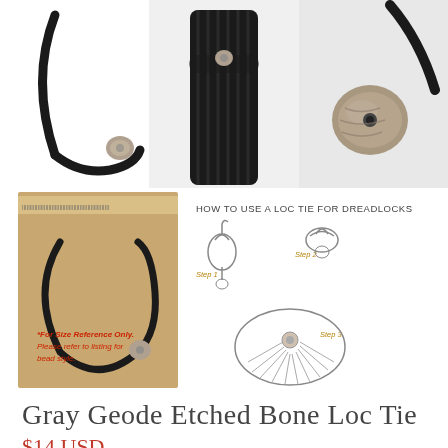[Figure (photo): Three product photos at top: left shows a black cord loc tie with silver bead against white background; center shows the loc tie used on black dreadlocks; right shows close-up of the silver/bone bead on a black cord.]
[Figure (photo): Bottom left: product photo of loc tie on ruler/tape measure background with red text 'For Size Reference Only. Please refer to listing for bead style.' Bottom right: instructional diagram titled 'HOW TO USE A LOC TIE FOR DREADLOCKS' showing 3 steps with hand and dreadlock illustrations labeled Step 1, Step 2, Step 3.]
Gray Geode Etched Bone Loc Tie
$14 USD